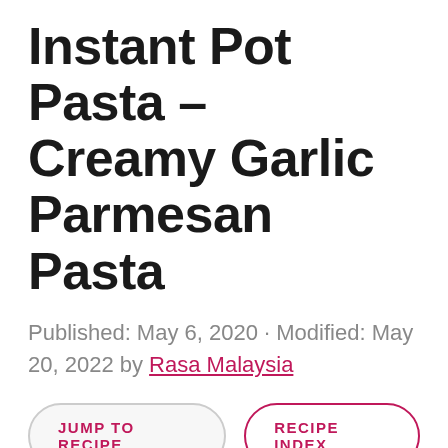Instant Pot Pasta – Creamy Garlic Parmesan Pasta
Published: May 6, 2020 · Modified: May 20, 2022 by Rasa Malaysia
JUMP TO RECIPE
RECIPE INDEX
Instant Pot pasta in a jiffy! This Instant Pot creamy garlic Parmesan pasta recipe cooks in 8 mins. The